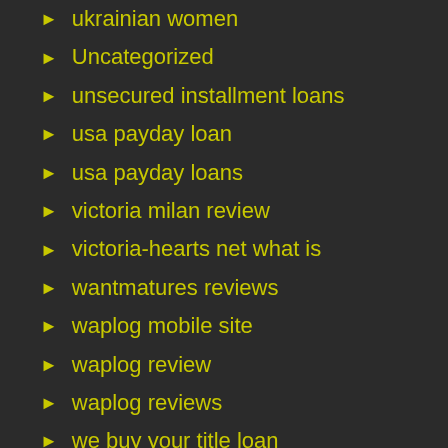ukrainian women
Uncategorized
unsecured installment loans
usa payday loan
usa payday loans
victoria milan review
victoria-hearts net what is
wantmatures reviews
waplog mobile site
waplog review
waplog reviews
we buy your title loan
weekend payday loans
What Are The Best Dating Websites
What Is The Best Dating Site For Me